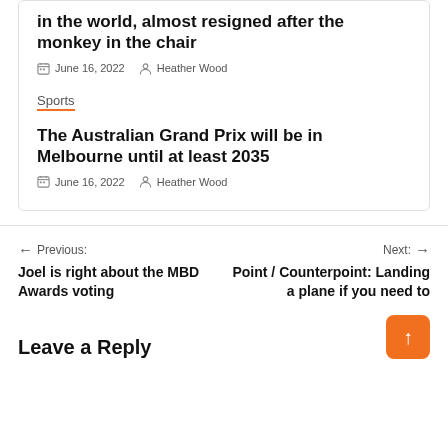in the world, almost resigned after the monkey in the chair
June 16, 2022   Heather Wood
Sports
The Australian Grand Prix will be in Melbourne until at least 2035
June 16, 2022   Heather Wood
Previous: Joel is right about the MBD Awards voting
Next: Point / Counterpoint: Landing a plane if you need to
Leave a Reply